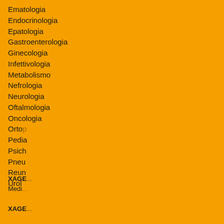Ematologia
Endocrinologia
Epatologia
Gastroenterologia
Ginecologia
Infettivologia
Metabolismo
Nefrologia
Neurologia
Oftalmologia
Oncologia
Ortop...
Pedia...
Psich...
Pneu...
Reun...
Urol...
XAGE...
Medi...
XAGE...
[Figure (screenshot): Cookie consent dialog with text about Network Xagena using cookies, a link for more information, and an 'Accetto' (Accept) button]